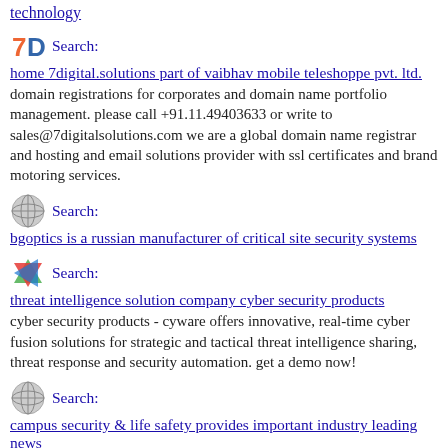technology
Search: home 7digital.solutions part of vaibhav mobile teleshoppe pvt. ltd.
domain registrations for corporates and domain name portfolio management. please call +91.11.49403633 or write to sales@7digitalsolutions.com we are a global domain name registrar and hosting and email solutions provider with ssl certificates and brand motoring services.
Search: bgoptics is a russian manufacturer of critical site security systems
Search: threat intelligence solution company cyber security products
cyber security products - cyware offers innovative, real-time cyber fusion solutions for strategic and tactical threat intelligence sharing, threat response and security automation. get a demo now!
Search: campus security & life safety provides important industry leading news
campus security & life safety magazine, enewsletter and website provide important industry leading news to school districts